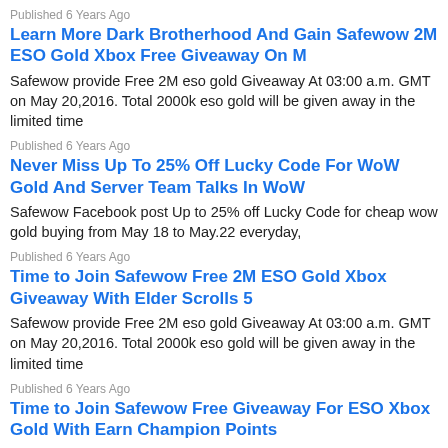Published 6 Years Ago
Learn More Dark Brotherhood And Gain Safewow 2M ESO Gold Xbox Free Giveaway On M
Safewow provide Free 2M eso gold Giveaway At 03:00 a.m. GMT on May 20,2016. Total 2000k eso gold will be given away in the limited time
Published 6 Years Ago
Never Miss Up To 25% Off Lucky Code For WoW Gold And Server Team Talks In WoW
Safewow Facebook post Up to 25% off Lucky Code for cheap wow gold buying from May 18 to May.22 everyday,
Published 6 Years Ago
Time to Join Safewow Free 2M ESO Gold Xbox Giveaway With Elder Scrolls 5
Safewow provide Free 2M eso gold Giveaway At 03:00 a.m. GMT on May 20,2016. Total 2000k eso gold will be given away in the limited time
Published 6 Years Ago
Time to Join Safewow Free Giveaway For ESO Xbox Gold With Earn Champion Points
Safewow provide Free 2M eso gold Giveaway At 03:00 a.m. GMT on May 20,2016. Total 2000k eso gold will be given away in the limited time, including: